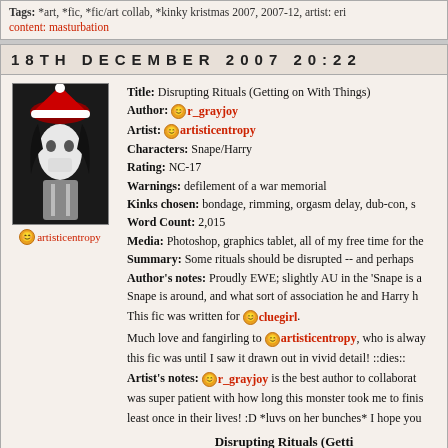Tags: *art, *fic, *fic/art collab, *kinky kristmas 2007, 2007-12, artist: eri content: masturbation
18TH DECEMBER 2007 20:22
[Figure (illustration): Avatar image: figure wearing a white mask and red Santa hat, dark hair, holding something silver]
artisticentropy
Title: Disrupting Rituals (Getting on With Things)
Author: r_grayjoy
Artist: artisticentropy
Characters: Snape/Harry
Rating: NC-17
Warnings: defilement of a war memorial
Kinks chosen: bondage, rimming, orgasm delay, dub-con, s
Word Count: 2,015
Media: Photoshop, graphics tablet, all of my free time for the
Summary: Some rituals should be disrupted -- and perhaps
Author's notes: Proudly EWE; slightly AU in the 'Snape is a Snape is around, and what sort of association he and Harry h
This fic was written for cluegirl.
Much love and fangirling to artisticentropy, who is alway this fic was until I saw it drawn out in vivid detail! ::dies::
Artist's notes: r_grayjoy is the best author to collaborat was super patient with how long this monster took me to finis least once in their lives! :D *luvs on her bunches* I hope you
Disrupting Rituals (Getti
( Warning: This is really image heavy because it is a full bigger if you can't read them. )
Tags: *art, *fic, *fic/art collab, *kinky kristmas 2007, 2007-12, artist: